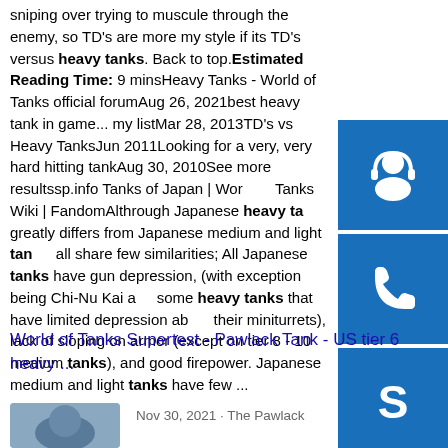sniping over trying to muscule through the enemy, so TD's are more my style if its TD's versus heavy tanks. Back to top.Estimated Reading Time: 9 minsHeavy Tanks - World of Tanks official forumAug 26, 2021best heavy tank in game... my listMar 28, 2013TD's vs Heavy TanksJun 2011Looking for a very, very hard hitting tankAug 30, 2010See more resultssp.info Tanks of Japan | World of Tanks Wiki | FandomAlthrough Japanese heavy tanks greatly differs from Japanese medium and light tanks, all share few similarities; All Japanese tanks have gun depression, (with exception being Chi-Nu Kai and some heavy tanks that have limited depression about their miniturrets), lack of sloping on armor (except on tier 8 - 10 medium tanks), and good firepower. Japanese medium and light tanks have few ...
[Figure (infographic): Three blue icon buttons stacked vertically: a headset/support icon, a phone icon, and a Skype icon]
World of Tanks Supertest - Pawlack Tank - US tier 6 heavy ...
Nov 30, 2021 · The Pawlack